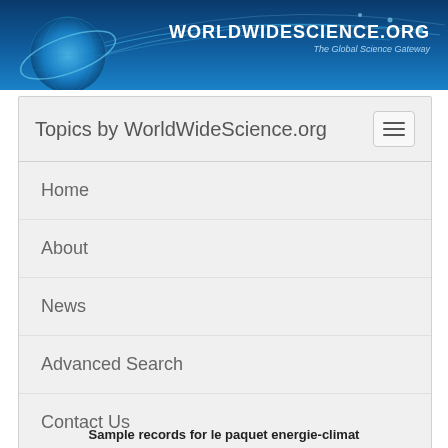[Figure (logo): WorldWideScience.org header banner with globe icon, decorative arc lines, and logo text 'WorldWideScience.org - The Global Science Gateway']
Topics by WorldWideScience.org
Home
About
News
Advanced Search
Contact Us
Site Map
Help
Sample records for le paquet energie-climat